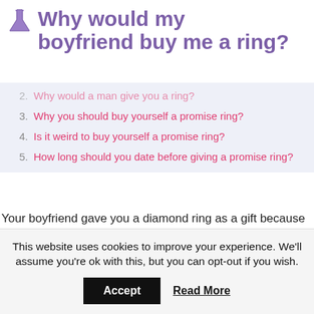Why would my boyfriend buy me a ring?
2. Why would a man give you a ring?
3. Why you should buy yourself a promise ring?
4. Is it weird to buy yourself a promise ring?
5. How long should you date before giving a promise ring?
Your boyfriend gave you a diamond ring as a gift because he loves you. That is the meaning or symbol behind the gift. It is clear to me from your question that your boyfriend loves you and wants to make you happy. So much so that he is willing to call the gift an engagement ring.
This website uses cookies to improve your experience. We'll assume you're ok with this, but you can opt-out if you wish.